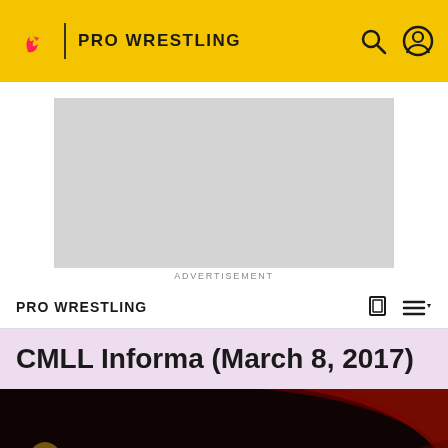PRO WRESTLING
[Figure (screenshot): Advertisement placeholder, light grey rectangle]
ADVERTISEMENT
PRO WRESTLING
CMLL Informa (March 8, 2017)
[Figure (photo): Hero image with dark background, gold trophy element on left, red curved arch stripes on right, related to CMLL wrestling event]